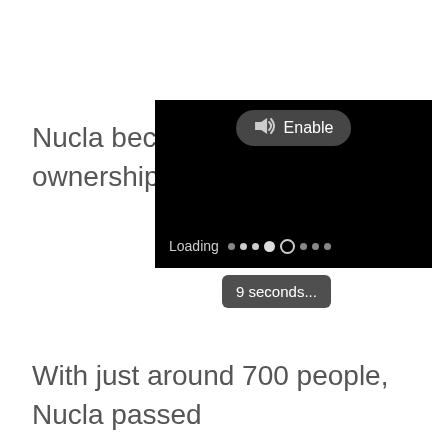Nucla became ownership in C
[Figure (screenshot): A video player with a black background showing a loading state. An 'Enable' button with a speaker icon is visible at the top center. At the bottom left, 'Loading' text is shown with a dot progress indicator.]
9 seconds...
With just around 700 people, Nucla passed